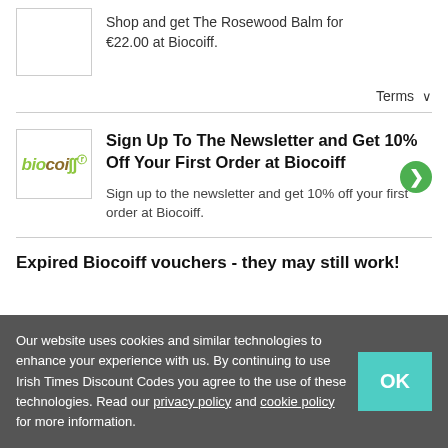Shop and get The Rosewood Balm for €22.00 at Biocoiff.
Terms ∨
Sign Up To The Newsletter and Get 10% Off Your First Order at Biocoiff
Sign up to the newsletter and get 10% off your first order at Biocoiff.
Expired Biocoiff vouchers - they may still work!
Our website uses cookies and similar technologies to enhance your experience with us. By continuing to use Irish Times Discount Codes you agree to the use of these technologies. Read our privacy policy and cookie policy for more information.